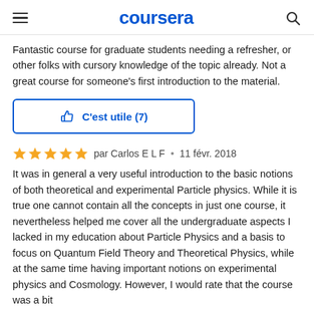coursera
Fantastic course for graduate students needing a refresher, or other folks with cursory knowledge of the topic already. Not a great course for someone's first introduction to the material.
C'est utile (7)
par Carlos E L F · 11 févr. 2018
It was in general a very useful introduction to the basic notions of both theoretical and experimental Particle physics. While it is true one cannot contain all the concepts in just one course, it nevertheless helped me cover all the undergraduate aspects I lacked in my education about Particle Physics and a basis to focus on Quantum Field Theory and Theoretical Physics, while at the same time having important notions on experimental physics and Cosmology. However, I would rate that the course was a bit